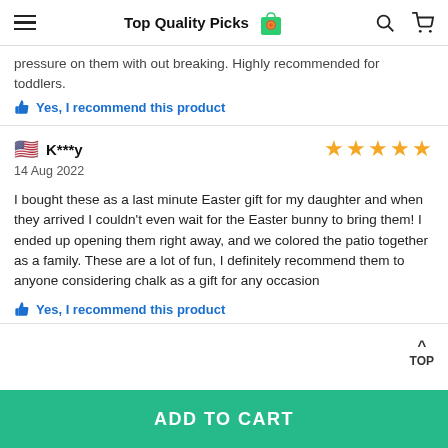Top Quality Picks
pressure on them with out breaking. Highly recommended for toddlers.
Yes, I recommend this product
K***y — 14 Aug 2022 — 5 stars
I bought these as a last minute Easter gift for my daughter and when they arrived I couldn't even wait for the Easter bunny to bring them! I ended up opening them right away, and we colored the patio together as a family. These are a lot of fun, I definitely recommend them to anyone considering chalk as a gift for any occasion
Yes, I recommend this product
ADD TO CART